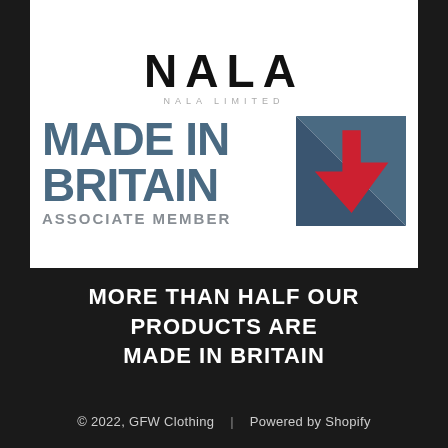[Figure (logo): NALA Limited logo with 'MADE IN BRITAIN Associate Member' badge featuring stylized Union Jack arrow in blue-grey and red]
MORE THAN HALF OUR PRODUCTS ARE MADE IN BRITAIN
© 2022, GFW Clothing | Powered by Shopify